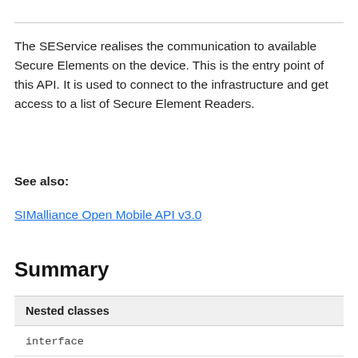The SEService realises the communication to available Secure Elements on the device. This is the entry point of this API. It is used to connect to the infrastructure and get access to a list of Secure Element Readers.
See also:
SIMalliance Open Mobile API v3.0
Summary
| Nested classes |
| --- |
| interface |